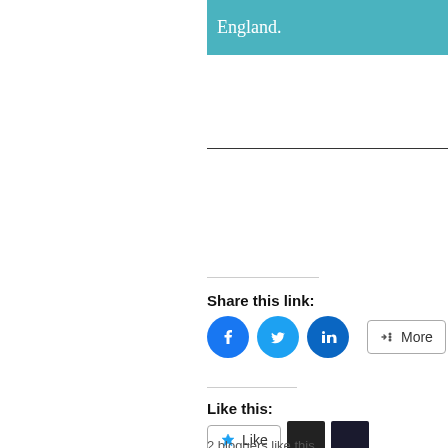England.
Share this link:
[Figure (other): Social share buttons: Facebook, Twitter, LinkedIn circles and a More button]
Like this:
[Figure (other): Like button and two blogger avatar thumbnails]
2 bloggers like this.